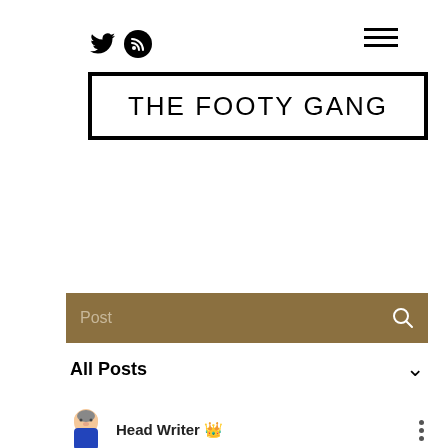THE FOOTY GANG
Post
All Posts
Head Writer